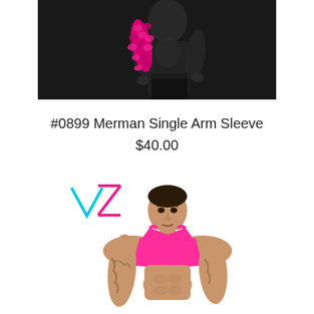[Figure (photo): A male mannequin wearing a pink/magenta sequin merman arm sleeve on a dark background, holding the arm up]
#0899 Merman Single Arm Sleeve
$40.00
[Figure (photo): A tattooed male model wearing a hot pink/magenta sports bra-style crop top harness, with a stylized VZ logo partially visible in the upper left]